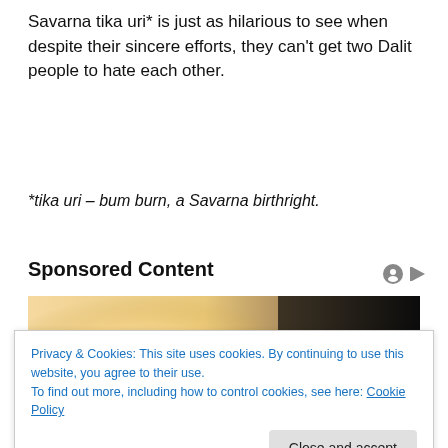Savarna tika uri* is just as hilarious to see when despite their sincere efforts, they can't get two Dalit people to hate each other.
*tika uri – bum burn, a Savarna birthright.
Sponsored Content
[Figure (photo): White lilies held against a backlit warm background, partial dark background on right side.]
Privacy & Cookies: This site uses cookies. By continuing to use this website, you agree to their use.
To find out more, including how to control cookies, see here: Cookie Policy
Close and accept
Cremations | Search Ads